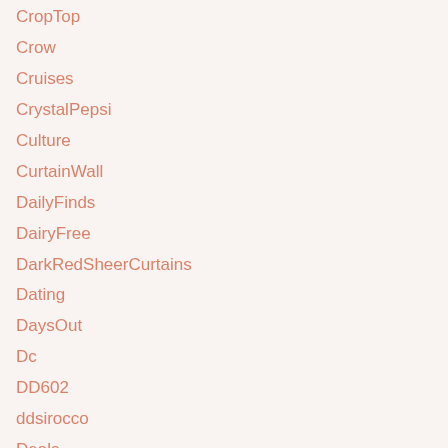CropTop
Crow
Cruises
CrystalPepsi
Culture
CurtainWall
DailyFinds
DairyFree
DarkRedSheerCurtains
Dating
DaysOut
Dc
DD602
ddsirocco
Deals